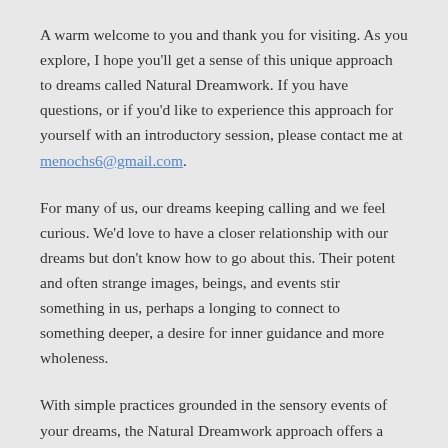A warm welcome to you and thank you for visiting. As you explore, I hope you'll get a sense of this unique approach to dreams called Natural Dreamwork. If you have questions, or if you'd like to experience this approach for yourself with an introductory session, please contact me at menochs6@gmail.com.
For many of us, our dreams keeping calling and we feel curious. We'd love to have a closer relationship with our dreams but don't know how to go about this. Their potent and often strange images, beings, and events stir something in us, perhaps a longing to connect to something deeper, a desire for inner guidance and more wholeness.
With simple practices grounded in the sensory events of your dreams, the Natural Dreamwork approach offers a fresh way to listen and be in conversation with your dreams. This is a way of deepening your relationship to your own dreams as devoted companions who are with you every step of the way throughout your life.